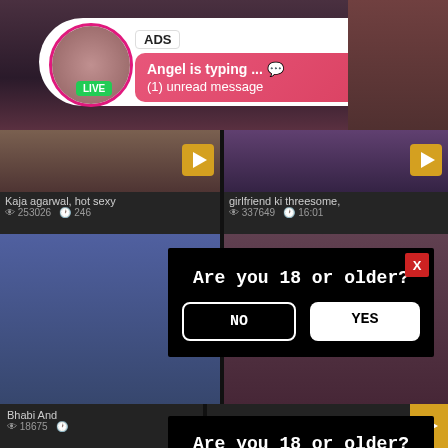[Figure (screenshot): Adult video website ad popup showing a profile avatar with LIVE badge, ADS label, and message 'Angel is typing ... (1) unread message']
Kaja agarwal, hot sexy
253026  246
girlfriend ki threesome,
337649  16:01
[Figure (screenshot): Age verification modal: Are you 18 or older? with NO and YES buttons]
Are you 18 or older?
NO
YES
Bhabi And
18675
[Figure (screenshot): Second age verification modal: Are you 18 or older? with NO and YES buttons]
Are you 18 or older?
NO
YES